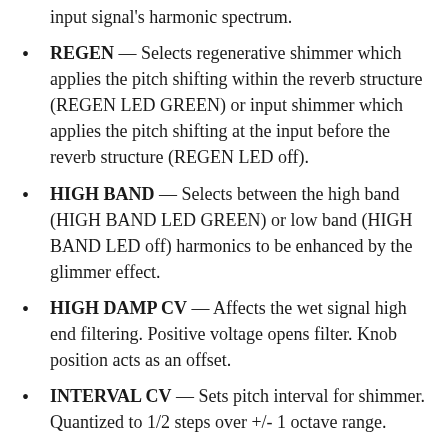input signal's harmonic spectrum.
REGEN — Selects regenerative shimmer which applies the pitch shifting within the reverb structure (REGEN LED GREEN) or input shimmer which applies the pitch shifting at the input before the reverb structure (REGEN LED off).
HIGH BAND — Selects between the high band (HIGH BAND LED GREEN) or low band (HIGH BAND LED off) harmonics to be enhanced by the glimmer effect.
HIGH DAMP CV — Affects the wet signal high end filtering. Positive voltage opens filter. Knob position acts as an offset.
INTERVAL CV — Sets pitch interval for shimmer. Quantized to 1/2 steps over +/- 1 octave range.
LOW PASS — Changes the HIGH DAMP function to